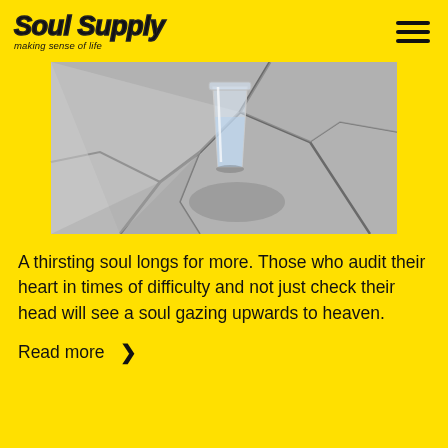Soul Supply — making sense of life
[Figure (photo): Black and white photo of a glass of water sitting on cracked, dry earth/stone]
A thirsting soul longs for more. Those who audit their heart in times of difficulty and not just check their head will see a soul gazing upwards to heaven.
Read more ›